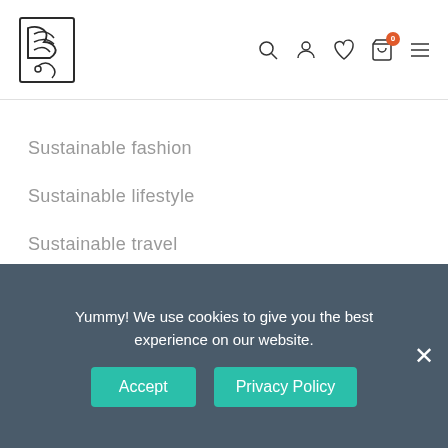Navigation header with logo and icons (search, user, wishlist, cart, menu)
Sustainable fashion
Sustainable lifestyle
Sustainable travel
Featured Posts
Top 4 free self-development activities during the lockdown
Top 5 quarantine things to do during lockdown
Sustainable fabrics: is hemp more sustainable than cotton?
Yummy! We use cookies to give you the best experience on our website.
Accept | Privacy Policy